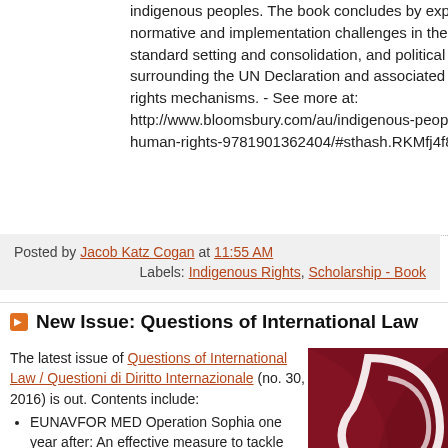indigenous peoples. The book concludes by exploring future normative and implementation challenges in the light of the standard setting and consolidation, and political momentum, surrounding the UN Declaration and associated UN human rights mechanisms. - See more at: http://www.bloomsbury.com/au/indigenous-peoples-and-human-rights-9781901362404/#sthash.RKMfj4f8.dpuf
Posted by Jacob Katz Cogan at 11:55 AM
Labels: Indigenous Rights, Scholarship - Book
New Issue: Questions of International Law
The latest issue of Questions of International Law / Questioni di Diritto Internazionale (no. 30, 2016) is out. Contents include:
[Figure (illustration): Book cover of QIL - Questioni di Diritto Internazionale, dark red/maroon cover with white abstract design and QIL logo, labeled NUMERO 1]
EUNAVFOR MED Operation Sophia one year after: An effective measure to tackle human trafficking and migrant smuggling networks?
Introduced by Francesca De Vittor and Francesca Mussi
Matilde Ventrella, The impact